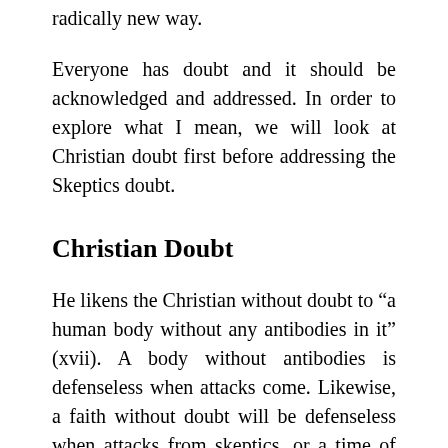radically new way.
Everyone has doubt and it should be acknowledged and addressed. In order to explore what I mean, we will look at Christian doubt first before addressing the Skeptics doubt.
Christian Doubt
He likens the Christian without doubt to “a human body without any antibodies in it” (xvii). A body without antibodies is defenseless when attacks come. Likewise, a faith without doubt will be defenseless when attacks from skeptics, or a time of trial enters into life because of personal tragedies. Those who enter these situation without having thought about the hard questions, the